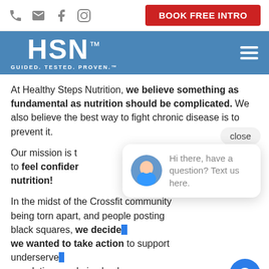BOOK FREE INTRO
[Figure (logo): HSN logo - GUIDED. TESTED. PROVEN. on blue background]
At Healthy Steps Nutrition, we believe something as fundamental as nutrition should be complicated. We also believe the best way to fight chronic disease is to prevent it.
Our mission is to feel confident nutrition!
In the midst of the Crossfit community being torn apart, and people posting black squares, we decided we wanted to take action to support underserved populations and give back.
[Figure (screenshot): Chat popup with avatar photo and text: Hi there, have a question? Text us here.]